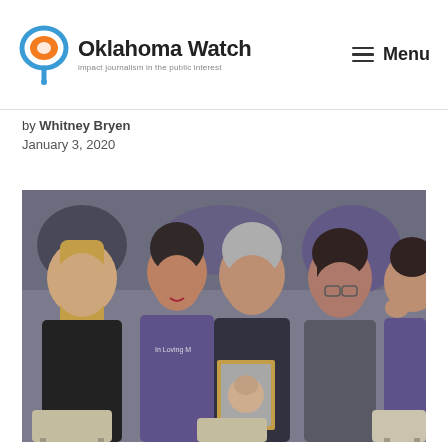Oklahoma Watch — Impact journalism in the public interest | Menu
by Whitney Bryen
January 3, 2020
[Figure (photo): Women seated in chairs with heads bowed, some wearing purple shirts, one holding a framed photo of a person, appearing to be at a memorial or vigil event.]